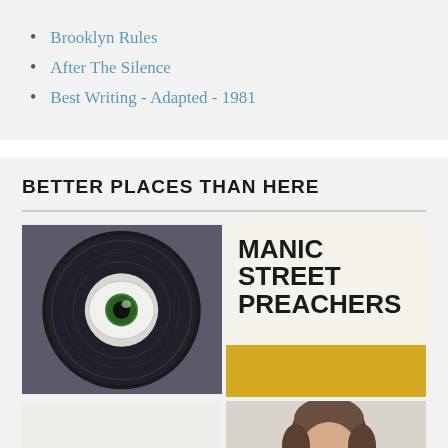Brooklyn Rules
After The Silence
Best Writing - Adapted - 1981
BETTER PLACES THAN HERE
[Figure (photo): Vinyl record with a green eyeball in the center]
[Figure (illustration): Manic Street Preachers album cover with bold text and yellow stripe]
[Figure (photo): Partial guitar, bottom left]
[Figure (photo): Person with glasses, brown hair, bottom right]